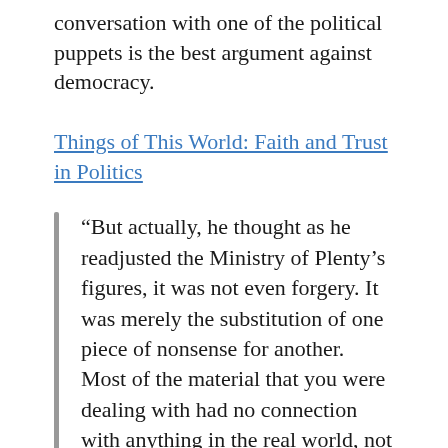conversation with one of the political puppets is the best argument against democracy.
Things of This World: Faith and Trust in Politics
“But actually, he thought as he readjusted the Ministry of Plenty’s figures, it was not even forgery. It was merely the substitution of one piece of nonsense for another. Most of the material that you were dealing with had no connection with anything in the real world, not even the kind of connection that is contained in a direct lie. Statistics were just as much a fantasy in their